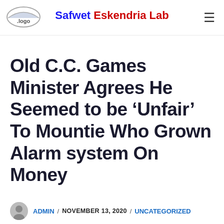Safwet Eskendria Lab
Old C.C. Games Minister Agrees He Seemed to be ‘Unfair’ To Mountie Who Grown Alarm system On Money
ADMIN / NOVEMBER 13, 2020 / UNCATEGORIZED